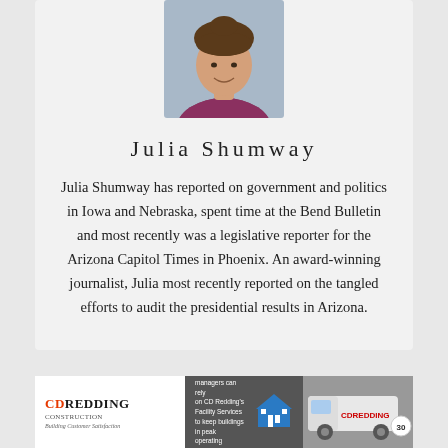[Figure (photo): Headshot photo of Julia Shumway, a woman with brown hair pulled up, wearing a dark floral top, blue/grey background]
Julia Shumway
Julia Shumway has reported on government and politics in Iowa and Nebraska, spent time at the Bend Bulletin and most recently was a legislative reporter for the Arizona Capitol Times in Phoenix. An award-winning journalist, Julia most recently reported on the tangled efforts to audit the presidential results in Arizona.
[Figure (photo): CD Redding Construction advertisement banner with logo, text about Facility Services to keep buildings in peak operating condition, house icon, and a van photo]